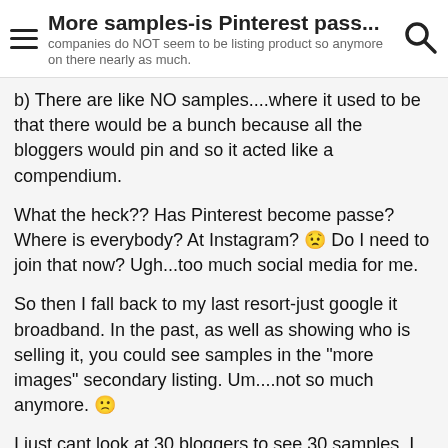More samples-is Pinterest pass...
companies do NOT seem to be listing product so anymore on there nearly as much.
b) There are like NO samples....where it used to be that there would be a bunch because all the bloggers would pin and so it acted like a compendium.
What the heck?? Has Pinterest become passe? Where is everybody? At Instagram? 😟 Do I need to join that now? Ugh...too much social media for me.
So then I fall back to my last resort-just google it broadband. In the past, as well as showing who is selling it, you could see samples in the "more images" secondary listing. Um....not so much anymore. 🙁
I just cant look at 30 bloggers to see 30 samples. I would like to know if they are gathering in one place somewhere in the internet universe. But this does not let mfgs off the hook.